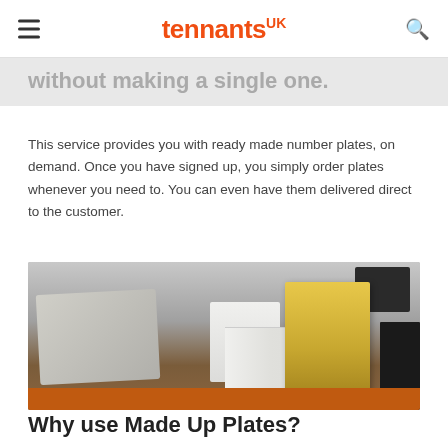tennants UK
without making a single one.
This service provides you with ready made number plates, on demand. Once you have signed up, you simply order plates whenever you need to. You can even have them delivered direct to the customer.
[Figure (photo): A workspace showing stacks of envelopes and papers on a table with a computer monitor and machinery in the background, and a person's arm visible on the right side.]
Why use Made Up Plates?